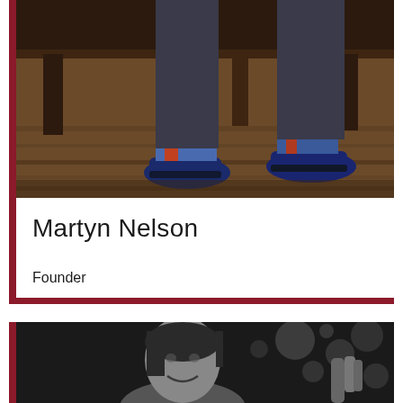[Figure (photo): Cropped photo showing the lower body and feet of a person wearing dark trousers, blue shoes with colorful socks, standing on a wooden floor near dark wooden furniture.]
Martyn Nelson
Founder
[Figure (photo): Black and white photo of a smiling woman with bokeh lights in the background, partially visible.]